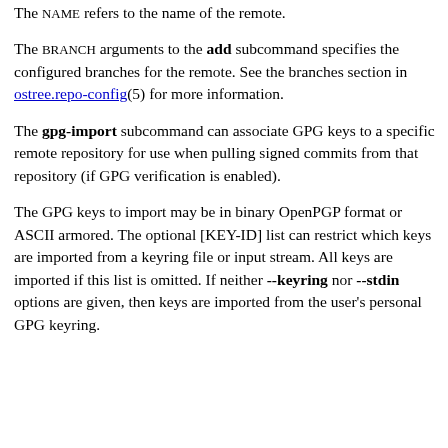The NAME refers to the name of the remote.
The BRANCH arguments to the add subcommand specifies the configured branches for the remote. See the branches section in ostree.repo-config(5) for more information.
The gpg-import subcommand can associate GPG keys to a specific remote repository for use when pulling signed commits from that repository (if GPG verification is enabled).
The GPG keys to import may be in binary OpenPGP format or ASCII armored. The optional [KEY-ID] list can restrict which keys are imported from a keyring file or input stream. All keys are imported if this list is omitted. If neither --keyring nor --stdin options are given, then keys are imported from the user's personal GPG keyring.